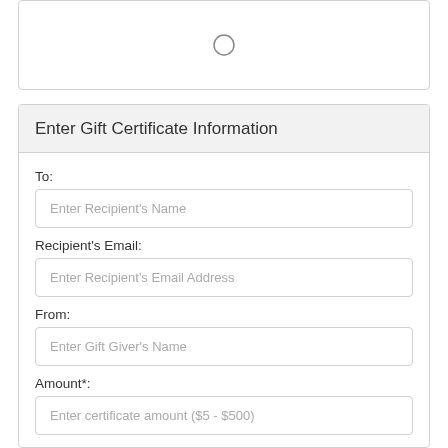[Figure (other): A rounded rectangle box with a radio button circle centered inside it]
Enter Gift Certificate Information
To:
Enter Recipient's Name
Recipient's Email:
Enter Recipient's Email Address
From:
Enter Gift Giver's Name
Amount*:
Enter certificate amount ($5 - $500)